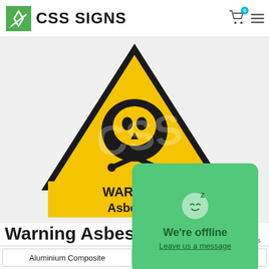CSS SIGNS
[Figure (photo): Warning Asbestos sign product image: yellow background with skull and crossbones hazard symbol triangle at top, below is a yellow rectangle with bold black text reading WARNING Asbestos. CSS watermark overlay visible.]
[Figure (screenshot): Green chat popup overlay showing a sleeping face emoji with Z, text We're offline and Leave us a message link]
Warning Asbestos Sign
Aluminium Composite
Corriboard